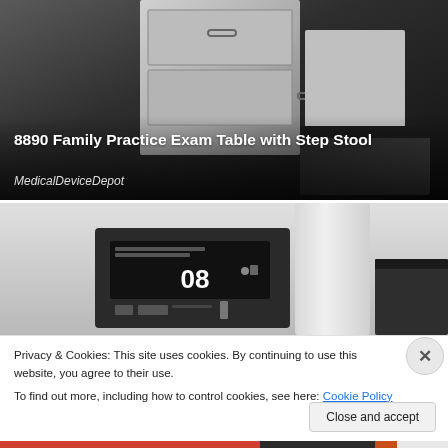[Figure (photo): Product photo of 8890 Family Practice Exam Table with Step Stool shown against dark background. Unit features metal drawer cabinet visible at top with handles, a dark step stool accessory in foreground.]
8890 Family Practice Exam Table with Step Stool
MedicalDeviceDepot
[Figure (photo): Close-up photo of medical exam table component showing a digital display panel with number readout '08' and interface controls, alongside white structural arm and dark seat/platform.]
Privacy & Cookies: This site uses cookies. By continuing to use this website, you agree to their use.
To find out more, including how to control cookies, see here: Cookie Policy